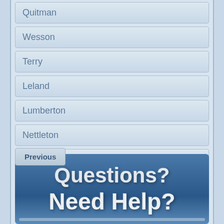Quitman
Wesson
Terry
Leland
Lumberton
Nettleton
Richton
Previous
[Figure (infographic): Blue banner with large white text reading 'Questions? Need Help?']